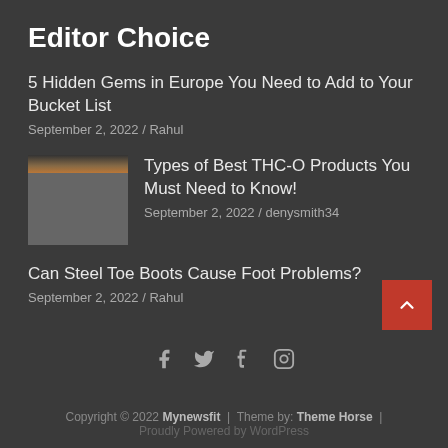Editor Choice
5 Hidden Gems in Europe You Need to Add to Your Bucket List
September 2, 2022 / Rahul
[Figure (photo): Thumbnail image for THC-O article]
Types of Best THC-O Products You Must Need to Know!
September 2, 2022 / denysmith34
Can Steel Toe Boots Cause Foot Problems?
September 2, 2022 / Rahul
[Figure (infographic): Social media icons: Facebook, Twitter, Tumblr, Instagram]
Copyright © 2022 Mynewsfit | Theme by: Theme Horse |